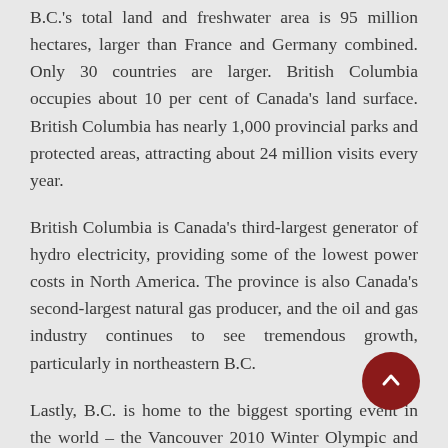B.C.'s total land and freshwater area is 95 million hectares, larger than France and Germany combined. Only 30 countries are larger. British Columbia occupies about 10 per cent of Canada's land surface. British Columbia has nearly 1,000 provincial parks and protected areas, attracting about 24 million visits every year.
British Columbia is Canada's third-largest generator of hydro electricity, providing some of the lowest power costs in North America. The province is also Canada's second-largest natural gas producer, and the oil and gas industry continues to see tremendous growth, particularly in northeastern B.C.
Lastly, B.C. is home to the biggest sporting event in the world – the Vancouver 2010 Winter Olympic and Paralympics Games.